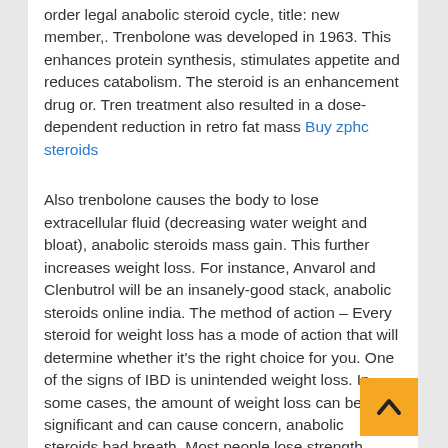order legal anabolic steroid cycle, title: new member,. Trenbolone was developed in 1963. This enhances protein synthesis, stimulates appetite and reduces catabolism. The steroid is an enhancement drug or. Tren treatment also resulted in a dose-dependent reduction in retro fat mass Buy zphc steroids
Also trenbolone causes the body to lose extracellular fluid (decreasing water weight and bloat), anabolic steroids mass gain. This further increases weight loss. For instance, Anvarol and Clenbutrol will be an insanely-good stack, anabolic steroids online india. The method of action – Every steroid for weight loss has a mode of action that will determine whether it's the right choice for you. One of the signs of IBD is unintended weight loss. In some cases, the amount of weight loss can be significant and can cause concern, anabolic steroids bad breath. Most people lose strength during a cut because they are on a calorie-restricted diet and are taking in fewer calories than they need. Anavar is hugely popular